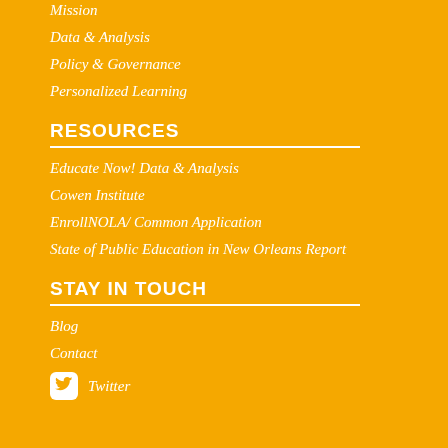Mission
Data & Analysis
Policy & Governance
Personalized Learning
RESOURCES
Educate Now! Data & Analysis
Cowen Institute
EnrollNOLA/ Common Application
State of Public Education in New Orleans Report
STAY IN TOUCH
Blog
Contact
Twitter